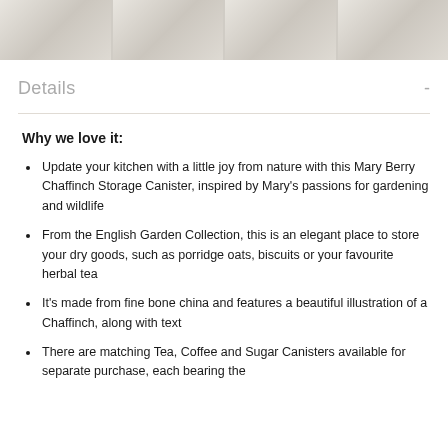[Figure (photo): A strip of product/background images at the top of the page showing kitchenware items on a light wooden surface, divided into four columns.]
Details
Why we love it:
Update your kitchen with a little joy from nature with this Mary Berry Chaffinch Storage Canister, inspired by Mary's passions for gardening and wildlife
From the English Garden Collection, this is an elegant place to store your dry goods, such as porridge oats, biscuits or your favourite herbal tea
It's made from fine bone china and features a beautiful illustration of a Chaffinch, along with text
There are matching Tea, Coffee and Sugar Canisters available for separate purchase, each bearing the